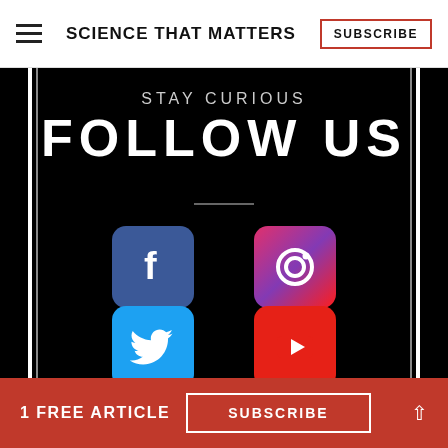≡  SCIENCE THAT MATTERS  SUBSCRIBE
STAY CURIOUS
FOLLOW US
[Figure (illustration): Black background section with vertical white border lines on left and right sides, containing social media icons: Facebook (blue rounded square with 'f'), Instagram (gradient pink/purple rounded square with camera circle icon), Twitter (blue rounded square with bird icon), YouTube (red rounded square with play button)]
1 FREE ARTICLE  SUBSCRIBE  ^